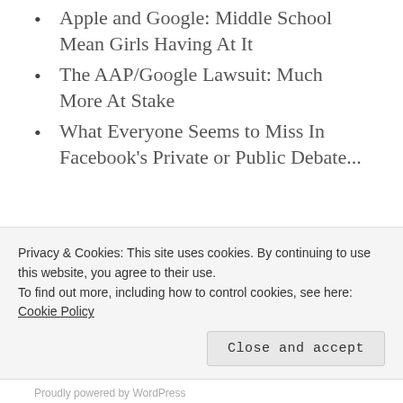Apple and Google: Middle School Mean Girls Having At It
The AAP/Google Lawsuit: Much More At Stake
What Everyone Seems to Miss In Facebook's Private or Public Debate...
ARCHIVES
Privacy & Cookies: This site uses cookies. By continuing to use this website, you agree to their use.
To find out more, including how to control cookies, see here: Cookie Policy
Proudly powered by WordPress